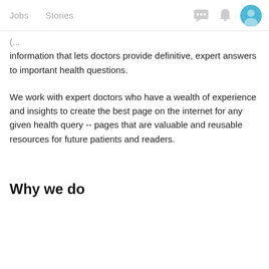Jobs  Stories
information that lets doctors provide definitive, expert answers to important health questions.
We work with expert doctors who have a wealth of experience and insights to create the best page on the internet for any given health query -- pages that are valuable and reusable resources for future patients and readers.
Why we do